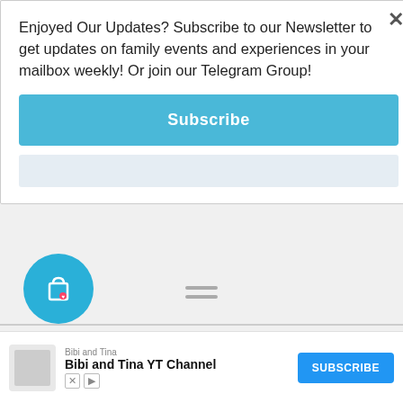Enjoyed Our Updates? Subscribe to our Newsletter to get updates on family events and experiences in your mailbox weekly! Or join our Telegram Group!
[Figure (screenshot): Blue Subscribe button]
[Figure (logo): Payment logos: JCB, MasterCard, VISA in gray]
[Figure (screenshot): Blue shopping bag circle icon with heart, and hamburger menu icon]
[Figure (screenshot): Ad banner: Bibi and Tina YT Channel with Subscribe button]